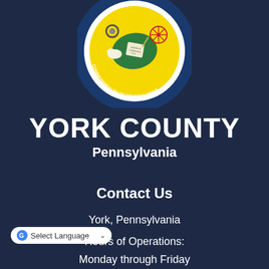[Figure (logo): York County Pennsylvania official seal — circular seal with yellow background, green map shape, cow, ferris wheel, quill and document reading 'Articles of Confederation 1777', gear, blue ring text reading 'COUNTY OF YORK · AUGUST 19, 1749 · COMMONWEALTH OF PENNSYLVANIA']
YORK COUNTY
Pennsylvania
Contact Us
York, Pennsylvania
Hours of Operations:
Monday through Friday